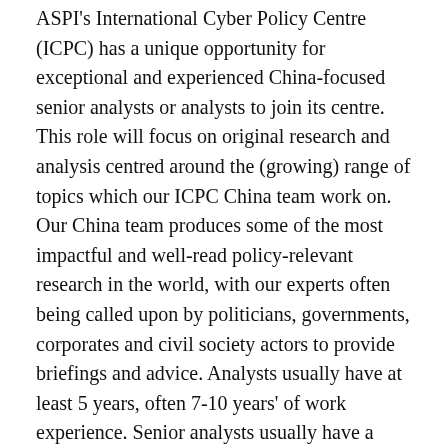ASPI's International Cyber Policy Centre (ICPC) has a unique opportunity for exceptional and experienced China-focused senior analysts or analysts to join its centre. This role will focus on original research and analysis centred around the (growing) range of topics which our ICPC China team work on. Our China team produces some of the most impactful and well-read policy-relevant research in the world, with our experts often being called upon by politicians, governments, corporates and civil society actors to provide briefings and advice. Analysts usually have at least 5 years, often 7-10 years' of work experience. Senior analysts usually have a minimum of 15 years relevant work experience and, in addition to research, they take on a leadership role in the centre and tend to be involved in staff and project management, fundraising and stakeholder engagement.